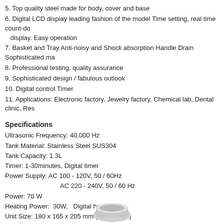5. Top quality steel made for body, cover and base
6. Digital LCD display leading fashion of the model Time setting, real time count-down display. Easy operation
7. Basket and Tray Anti-noisy and Shock absorption Handle Drain Sophisticated ma
8. Professional testing, quality assurance
9. Sophisticated design / fabulous outlook
10. Digital control Timer
11. Applications: Electronic factory, Jewelry factory, Chemical lab, Dental clinic, Res
Specifications
Ultrasonic Frequency: 40,000 Hz
Tank Material: Stainless Steel SUS304
Tank Capacity: 1.3L
Timer: 1-30minutes, Digital timer
Power Supply: AC 100 - 120V, 50 / 60Hz
                AC 220 - 240V, 50 / 60 Hz
Power: 70 W
Heating Power:  30W,   Digital heating
Unit Size: 180 x 165 x 205 mm ( L x W x H )
Tank Size:150 x 135 x 65 mm ( L x W x H )
Package Size: 250 x 230 x 300 mm ( L x W x H )
N.W.: 2.0 kg
G.W.: 2.7 kg
[Figure (photo): Partial view of ultrasonic cleaner product at bottom of page]